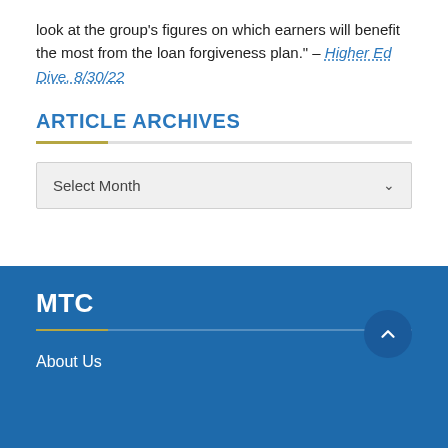look at the group's figures on which earners will benefit the most from the loan forgiveness plan." – Higher Ed Dive, 8/30/22
ARTICLE ARCHIVES
Select Month
MTC
About Us